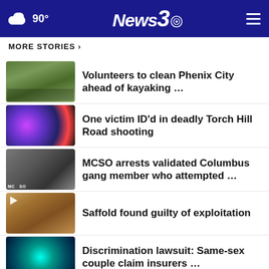90° News 3
MORE STORIES >
Volunteers to clean Phenix City ahead of kayaking …
One victim ID'd in deadly Torch Hill Road shooting
MCSO arrests validated Columbus gang member who attempted …
Saffold found guilty of exploitation
Discrimination lawsuit: Same-sex couple claim insurers …
MCSO arrests two during search